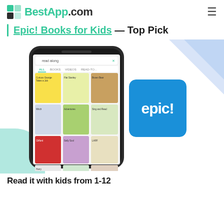BestApp.com
Epic! Books for Kids — Top Pick
[Figure (screenshot): Screenshot of the Epic! Books for Kids app on a smartphone showing a search for 'read along' with colorful children's book covers displayed in a grid, alongside the Epic! app logo (blue square with white 'epic!' text). Decorative blue-green and blue-purple geometric shapes in the corners.]
Read it with kids from 1-12